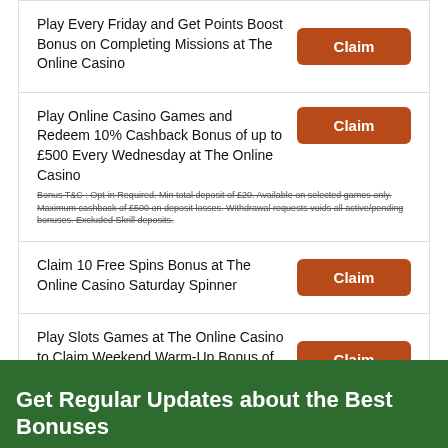Play Every Friday and Get Points Boost Bonus on Completing Missions at The Online Casino
Play Online Casino Games and Redeem 10% Cashback Bonus of up to £500 Every Wednesday at The Online Casino
Bonus T&C : Opt-in Required. Min total deposit of £20. Available on selected games only. Maximum cashback of £500 on deposit losses. Withdrawal requests voids all active/pending bonuses. Excluded Skrill deposits.
Claim 10 Free Spins Bonus at The Online Casino Saturday Spinner
Play Slots Games at The Online Casino to Claim Weekend Warm-Up Bonus of up to £250 Real Cash
View all Promotions
Get Regular Updates about the Best Bonuses